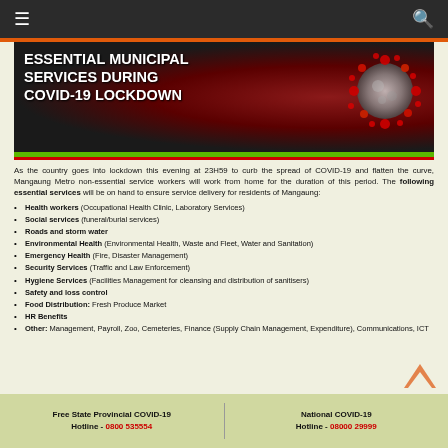Navigation bar with hamburger menu and search icon
ESSENTIAL MUNICIPAL SERVICES DURING COVID-19 LOCKDOWN
As the country goes into lockdown this evening at 23H59 to curb the spread of COVID-19 and flatten the curve, Mangaung Metro non-essential service workers will work from home for the duration of this period. The following essential services will be on hand to ensure service delivery for residents of Mangaung:
Health workers (Occupational Health Clinic, Laboratory Services)
Social services (funeral/burial services)
Roads and storm water
Environmental Health (Environmental Health, Waste and Fleet, Water and Sanitation)
Emergency Health (Fire, Disaster Management)
Security Services (Traffic and Law Enforcement)
Hygiene Services (Facilities Management for cleansing and distribution of sanitisers)
Safety and loss control
Food Distribution: Fresh Produce Market
HR Benefits
Other: Management, Payroll, Zoo, Cemeteries, Finance (Supply Chain Management, Expenditure), Communications, ICT
Free State Provincial COVID-19 Hotline - 0800 535554 | National COVID-19 Hotline - 08000 29999